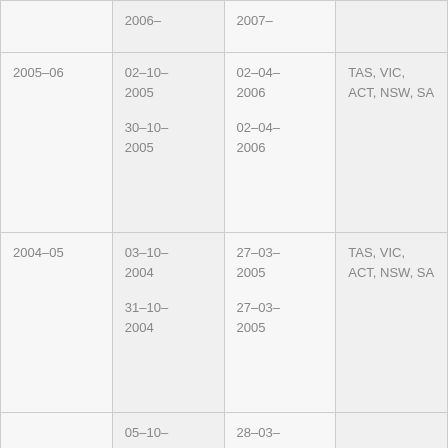| Year | Start Date | End Date | States |
| --- | --- | --- | --- |
|  | 2006– | 2007– |  |
| 2005–06 | 02–10–2005
30–10–2005 | 02–04–2006
02–04–2006 | TAS, VIC, ACT, NSW, SA |
| 2004–05 | 03–10–2004
31–10–2004 | 27–03–2005
27–03–2005 | TAS, VIC, ACT, NSW, SA |
|  | 05–10– | 28–03– |  |